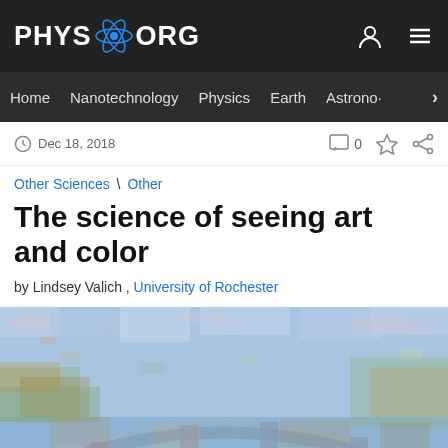PHYS.ORG
Home Nanotechnology Physics Earth Astrono·
Dec 18, 2018
Other Sciences \ Other
The science of seeing art and color
by Lindsey Valich , University of Rochester
[Figure (photo): Close-up of an impressionist painting with blue, orange, and pink brushstrokes depicting a landscape with a bridge and water, reminiscent of Monet's style.]